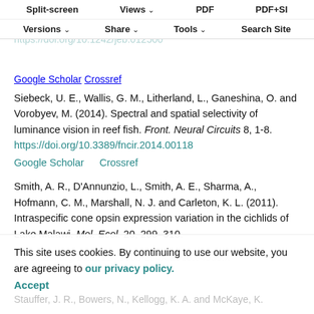Split-screen | Views | PDF | PDF+SI | Versions | Share | Tools | Search Site
Siebeck, U. E., Wallis, G. M. and Litherland, L. (2008). Colour vision in coral reef fish. J. Exp. Biol. 211, 554-560. https://doi.org/10.1242/jeb.012500
Google Scholar   Crossref
Siebeck, U. E., Wallis, G. M., Litherland, L., Ganeshina, O. and Vorobyev, M. (2014). Spectral and spatial selectivity of luminance vision in reef fish. Front. Neural Circuits 8, 1-8. https://doi.org/10.3389/fncir.2014.00118
Google Scholar   Crossref
Smith, A. R., D'Annunzio, L., Smith, A. E., Sharma, A., Hofmann, C. M., Marshall, N. J. and Carleton, K. L. (2011). Intraspecific cone opsin expression variation in the cichlids of Lake Malawi. Mol. Ecol. 20, 299-310.
This site uses cookies. By continuing to use our website, you are agreeing to our privacy policy.
Accept
Stauffer, J. R., Bowers, N., Kellogg, K. A. and McKaye, K. R. (1997). ...